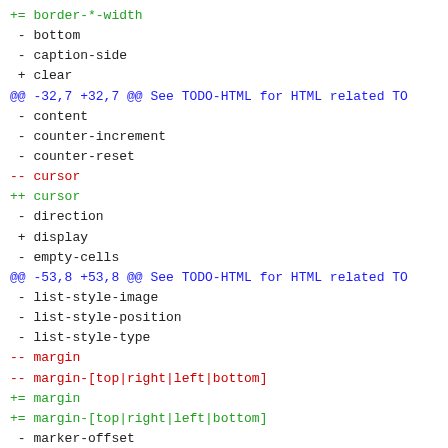diff code block showing CSS property changes with @@ hunk headers